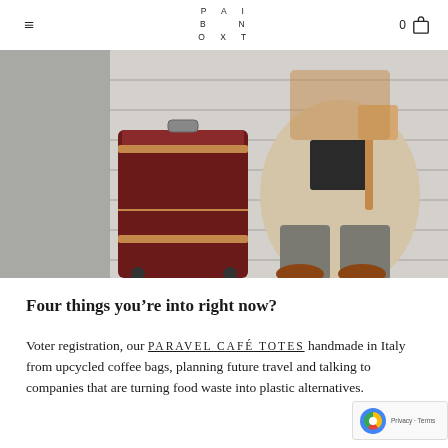PAINBOXT (logo) | 0 (cart)
[Figure (photo): A person sitting on stone steps next to a dark burgundy/maroon hard-shell rolling suitcase with tan leather trim. The person wears a beige coat and grey trousers with brown shoes and carries a tan bag.]
Four things you’re into right now?
Voter registration, our PARAVEL CAFÉ TOTES handmade in Italy from upcycled coffee bags, planning future travel and talking to companies that are turning food waste into plastic alternatives.